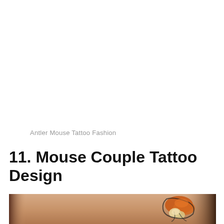Antler Mouse Tattoo Fashion
11. Mouse Couple Tattoo Design
[Figure (photo): Close-up photo of a tattoo on skin showing a colorful mouse or animal design with orange and cream colors, partially visible at bottom of page]